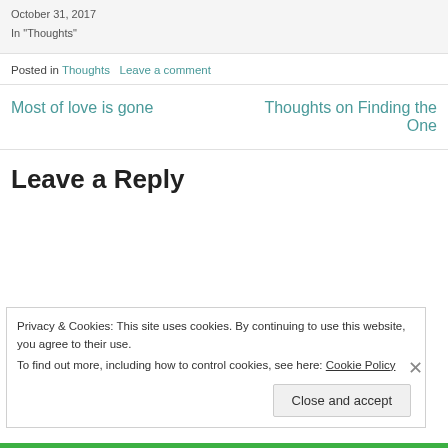October 31, 2017
In "Thoughts"
Posted in Thoughts   Leave a comment
Most of love is gone
Thoughts on Finding the One
Leave a Reply
Privacy & Cookies: This site uses cookies. By continuing to use this website, you agree to their use.
To find out more, including how to control cookies, see here: Cookie Policy
Close and accept